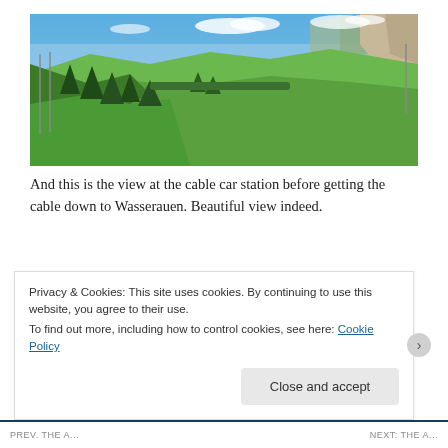[Figure (photo): Panoramic mountain landscape photo showing green alpine valleys, rolling hills, trees, and a blue sky with white clouds viewed from a cable car station above Wasserauen.]
And this is the view at the cable car station before getting the cable down to Wasserauen. Beautiful view indeed.
Being rated as one of the top 40 places to go in the world by some interesting websites, Aescher Hotel is really worth going to. You can't see big tour groups there and this place is frequented by locals. It's very impressive that you can see
Privacy & Cookies: This site uses cookies. By continuing to use this website, you agree to their use.
To find out more, including how to control cookies, see here: Cookie Policy